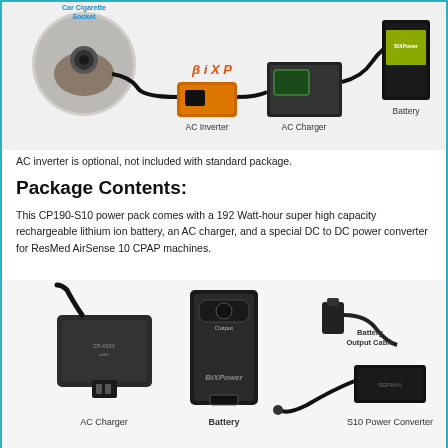[Figure (photo): Product photo showing a car cigarette socket outlet on the left, an orange and black AC inverter in the center connected by cord, an AC charger in the middle-right area, and a black battery on the far right. Labels indicate 'Car Cigarette Socket', 'AC Inverter', 'AC Charger', and 'Battery'.]
AC inverter is optional, not included with standard package.
Package Contents:
This CP190-S10 power pack comes with a 192 Watt-hour super high capacity rechargeable lithium ion battery, an AC charger, and a special DC to DC power converter for ResMed AirSense 10 CPAP machines.
[Figure (photo): Product photo showing three items side by side: on the left an AC Charger (black brick-style charger with cord), in the center a Battery (tall black rectangular unit with 'BiXPower' branding and 'Output' label), and on the right a Battery Output Cable and S10 Power Converter.]